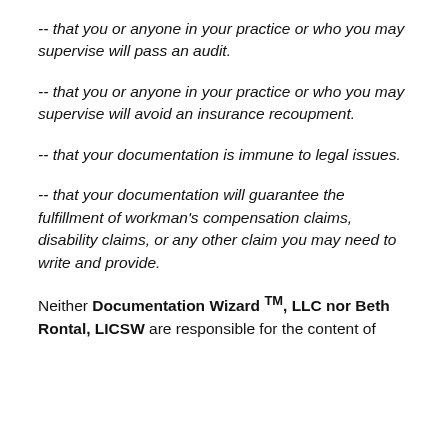-- that you or anyone in your practice or who you may supervise will pass an audit.
-- that you or anyone in your practice or who you may supervise will avoid an insurance recoupment.
-- that your documentation is immune to legal issues.
-- that your documentation will guarantee the fulfillment of workman's compensation claims, disability claims, or any other claim you may need to write and provide.
Neither Documentation Wizard TM, LLC nor Beth Rontal, LICSW are responsible for the content of